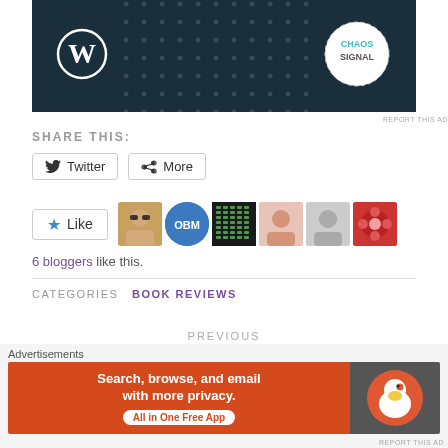[Figure (screenshot): Blog page screenshot showing a WordPress and Chaos Signal advertisement banner (dark navy background with WordPress logo and Chaos Signal circular logo)]
REPORT THIS AD
SHARE THIS:
Twitter  More (share buttons)
Like  [6 blogger avatars]
6 bloggers like this.
CATEGORIES  BOOK REVIEWS
PREVIOUS
2021 Reading Challenges Part 1: Netgalley and Edelweiss
Advertisements
[Figure (screenshot): DuckDuckGo advertisement banner: orange background with text 'Search, browse, and email with more privacy. All in One Free App' and DuckDuckGo duck logo on dark gray right panel]
REPORT THIS AD